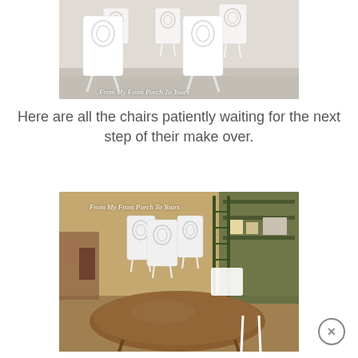[Figure (photo): Multiple white painted chairs with decorative figure-8 backs sitting in a workshop or garage area, photographed from a low angle. Watermark reads 'From My Front Porch To Yours'.]
Here are all the chairs patiently waiting for the next step of their make over.
[Figure (photo): A workshop/garage scene showing white chairs with decorative backs arranged around a large oval wooden dining table with a warm brown finish. Watermark reads 'From My Front Porch To Yours'.]